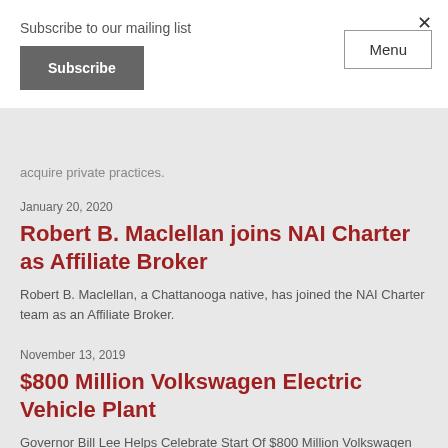Subscribe to our mailing list
Subscribe
×
Menu
acquire private practices.
January 20, 2020
Robert B. Maclellan joins NAI Charter as Affiliate Broker
Robert B. Maclellan, a Chattanooga native, has joined the NAI Charter team as an Affiliate Broker.
November 13, 2019
$800 Million Volkswagen Electric Vehicle Plant
Governor Bill Lee Helps Celebrate Start Of $800 Million Volkswagen Electric Vehicle Plant